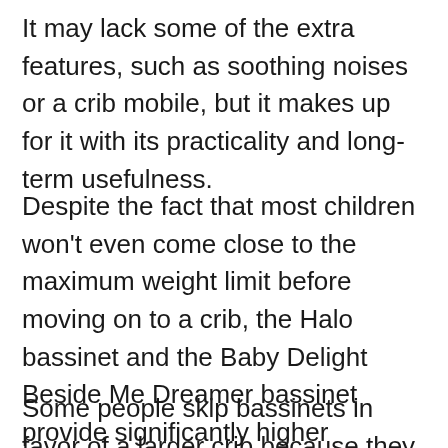It may lack some of the extra features, such as soothing noises or a crib mobile, but it makes up for it with its practicality and long-term usefulness.
Despite the fact that most children won't even come close to the maximum weight limit before moving on to a crib, the Halo bassinet and the Baby Delight Beside Me Dreamer bassinet provide significantly higher maximum weight capacities.
Some people skip bassinets in favor of a larger crib because they don't think of them